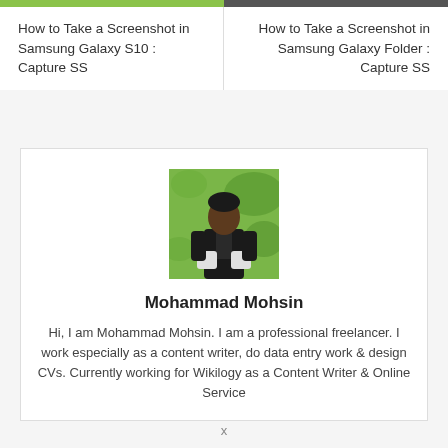How to Take a Screenshot in Samsung Galaxy S10 : Capture SS
How to Take a Screenshot in Samsung Galaxy Folder : Capture SS
[Figure (photo): Profile photo of Mohammad Mohsin, a man in a black outfit sitting against a green background]
Mohammad Mohsin
Hi, I am Mohammad Mohsin. I am a professional freelancer. I work especially as a content writer, do data entry work & design CVs. Currently working for Wikilogy as a Content Writer & Online Service